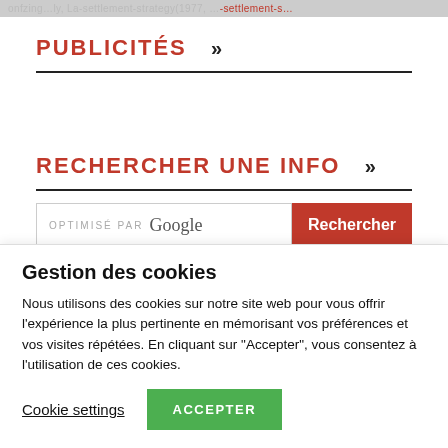onfzing…ly, La-settlement-strategy(1977, …-settlement-s…
PUBLICITÉS »
RECHERCHER UNE INFO »
[Figure (screenshot): Search box with 'OPTIMISÉ PAR Google' text and a red 'Rechercher' button]
Gestion des cookies
Nous utilisons des cookies sur notre site web pour vous offrir l'expérience la plus pertinente en mémorisant vos préférences et vos visites répétées. En cliquant sur "Accepter", vous consentez à l'utilisation de ces cookies.
Cookie settings | ACCEPTER